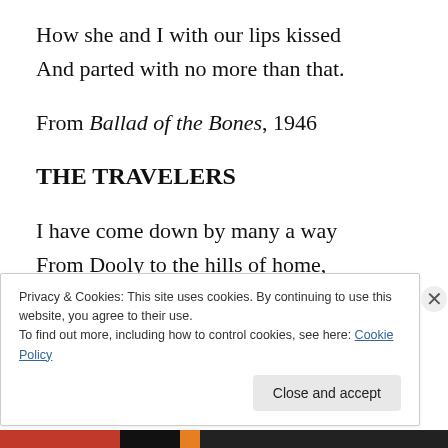How she and I with our lips kissed
And parted with no more than that.
From Ballad of the Bones, 1946
THE TRAVELERS
I have come down by many a way
From Dooly to the hills of home,
Though one was best, for if it stray
The meanest road seems good to roam.
And though I have inquired of none
Privacy & Cookies: This site uses cookies. By continuing to use this website, you agree to their use.
To find out more, including how to control cookies, see here: Cookie Policy
Close and accept